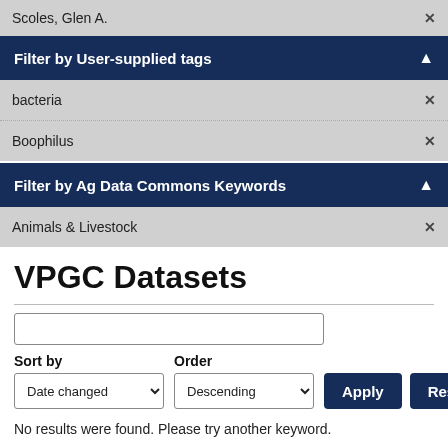Scoles, Glen A. ×
Filter by User-supplied tags ^
bacteria ×
Boophilus ×
Filter by Ag Data Commons Keywords ^
Animals & Livestock ×
VPGC Datasets
Sort by   Order   Date changed ▾   Descending ▾   Apply   Reset
No results were found. Please try another keyword.